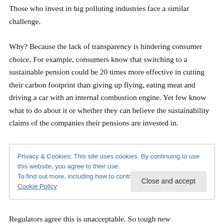Those who invest in big polluting industries face a similar challenge.
Why? Because the lack of transparency is hindering consumer choice. For example, consumers know that switching to a sustainable pension could be 20 times more effective in cutting their carbon footprint than giving up flying, eating meat and driving a car with an internal combustion engine. Yet few know what to do about it or whether they can believe the sustainability claims of the companies their pensions are invested in.
Privacy & Cookies: This site uses cookies. By continuing to use this website, you agree to their use.
To find out more, including how to control cookies, see here: Cookie Policy
Regulators agree this is unacceptable. So tough new